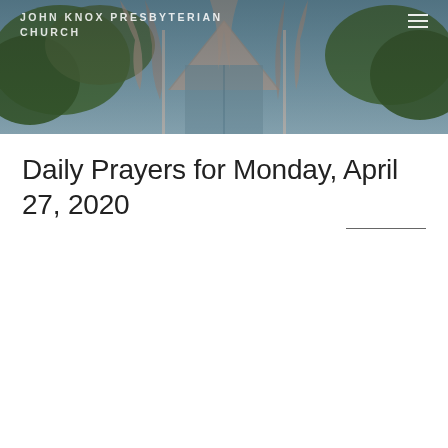[Figure (photo): Exterior photo of John Knox Presbyterian Church showing the distinctive peaked roofline with fabric drapery decorations and surrounding trees, used as website header banner]
JOHN KNOX PRESBYTERIAN CHURCH
Daily Prayers for Monday, April 27, 2020